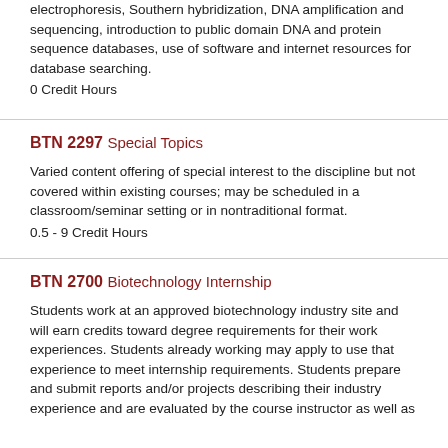electrophoresis, Southern hybridization, DNA amplification and sequencing, introduction to public domain DNA and protein sequence databases, use of software and internet resources for database searching.
0 Credit Hours
BTN 2297 Special Topics
Varied content offering of special interest to the discipline but not covered within existing courses; may be scheduled in a classroom/seminar setting or in nontraditional format.
0.5 - 9 Credit Hours
BTN 2700 Biotechnology Internship
Students work at an approved biotechnology industry site and will earn credits toward degree requirements for their work experiences. Students already working may apply to use that experience to meet internship requirements. Students prepare and submit reports and/or projects describing their industry experience and are evaluated by the course instructor as well as